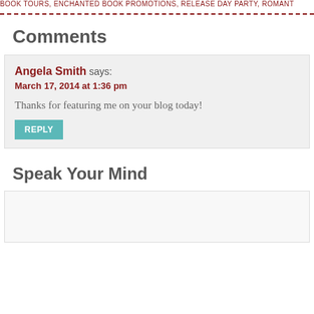BOOK TOURS, ENCHANTED BOOK PROMOTIONS, RELEASE DAY PARTY, ROMANT
Comments
Angela Smith says:
March 17, 2014 at 1:36 pm

Thanks for featuring me on your blog today!
Speak Your Mind